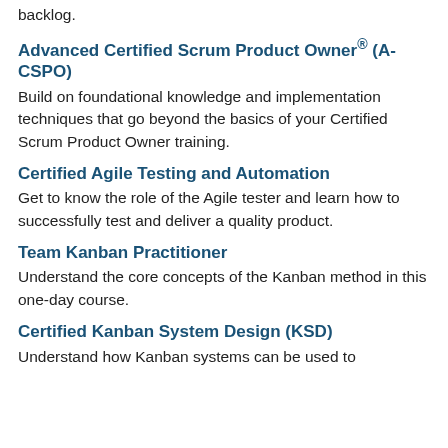backlog.
Advanced Certified Scrum Product Owner® (A-CSPO)
Build on foundational knowledge and implementation techniques that go beyond the basics of your Certified Scrum Product Owner training.
Certified Agile Testing and Automation
Get to know the role of the Agile tester and learn how to successfully test and deliver a quality product.
Team Kanban Practitioner
Understand the core concepts of the Kanban method in this one-day course.
Certified Kanban System Design (KSD)
Understand how Kanban systems can be used to